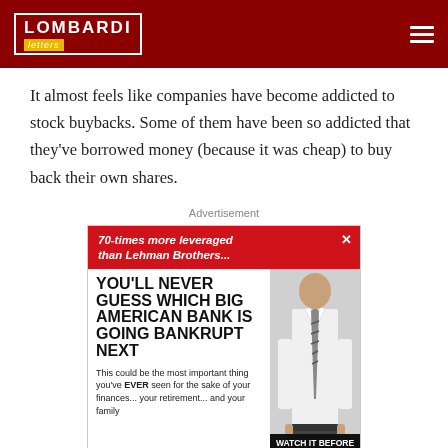LOMBARDI letters
It almost feels like companies have become addicted to stock buybacks. Some of them have been so addicted that they've borrowed money (because it was cheap) to buy back their own shares.
Advertisement
[Figure (other): Advertisement banner: '70-times more leveraged than Lehman Brothers...' YOU'LL NEVER GUESS WHICH BIG AMERICAN BANK IS GOING BANKRUPT NEXT. This could be the most important thing you've EVER seen for the sake of your finances... your retirement... and your family. WATCH IT BEFORE IT'S TOO LATE! Image of a man in white shirt and tie showing empty pockets.]